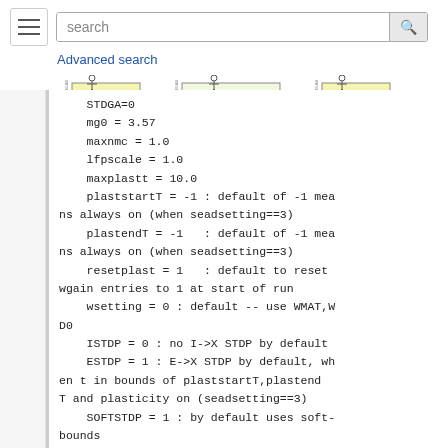[Figure (screenshot): Navigation bar with hamburger menu, search box, and logos for SenseLab, MicrocircuitDB, and ModelDB]
STDGA=0
    mg0 = 3.57
    maxnmc = 1.0
    lfpscale = 1.0
    maxplastt = 10.0
    plaststartT = -1 : default of -1 means always on (when seadsetting==3)
    plastendT = -1   : default of -1 means always on (when seadsetting==3)
    resetplast = 1   : default to reset wgain entries to 1 at start of run
    wsetting = 0 : default -- use WMAT,WD0
    ISTDP = 0 : no I->X STDP by default
    ESTDP = 1 : E->X STDP by default, when t in bounds of plaststartT,plastendT and plasticity on (seadsetting==3)
    SOFTSTDP = 1 : by default uses soft-bounds
    FRSTL...